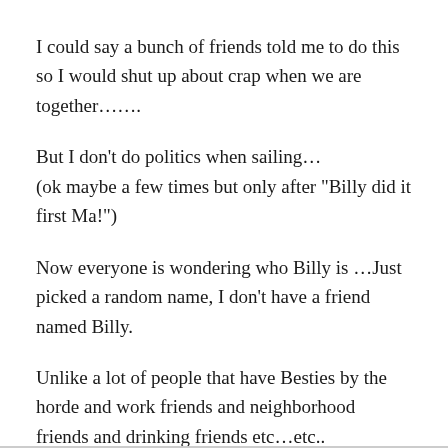I could say a bunch of friends told me to do this so I would shut up about crap when we are together…….
But I don’t do politics when sailing…
(ok maybe a few times but only after “Billy did it first Ma!”)
Now everyone is wondering who Billy is …Just picked a random name, I don’t have a friend named Billy.
Unlike a lot of people that have Besties by the horde and work friends and neighborhood friends and drinking friends etc…etc..